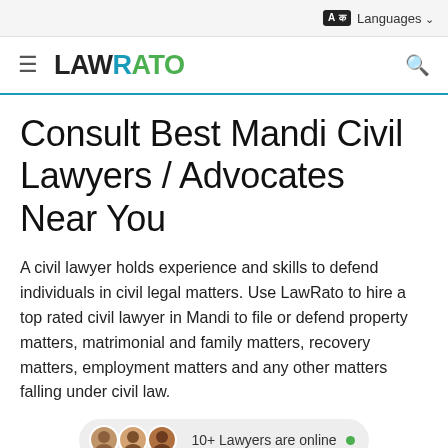A क Languages
[Figure (logo): LawRato logo with hamburger menu and search icon in navigation bar]
Consult Best Mandi Civil Lawyers / Advocates Near You
A civil lawyer holds experience and skills to defend individuals in civil legal matters. Use LawRato to hire a top rated civil lawyer in Mandi to file or defend property matters, matrimonial and family matters, recovery matters, employment matters and any other matters falling under civil law.
10+ Lawyers are online